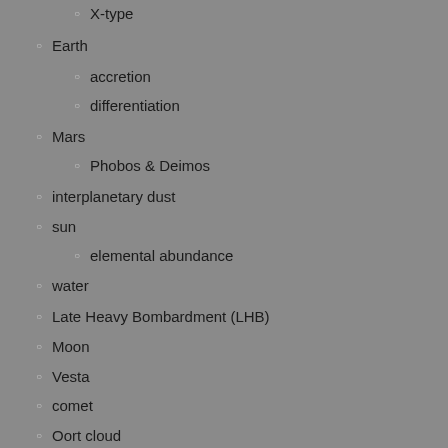X-type
Earth
accretion
differentiation
Mars
Phobos & Deimos
interplanetary dust
sun
elemental abundance
water
Late Heavy Bombardment (LHB)
Moon
Vesta
comet
Oort cloud
Venus
Kuiper belt objects (KBOs)
Pluto